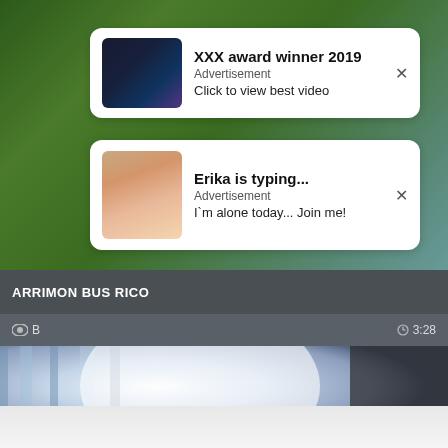[Figure (screenshot): Green blurred background behind ad notifications]
XXX award winner 2019
Advertisement
Click to view best video
[Figure (screenshot): Ad thumbnail for XXX award winner 2019]
Erika is typing...
Advertisement
I`m alone today... Join me!
[Figure (screenshot): Ad thumbnail for Erika is typing]
ARRIMON BUS RICO
👁 8
3:28
[Figure (screenshot): Video preview thumbnail showing blurred interior scene]